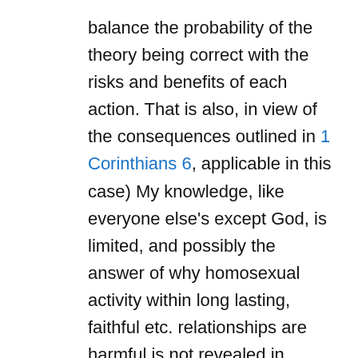balance the probability of the theory being correct with the risks and benefits of each action. That is also, in view of the consequences outlined in 1 Corinthians 6, applicable in this case) My knowledge, like everyone else's except God, is limited, and possibly the answer of why homosexual activity within long lasting, faithful etc. relationships are harmful is not revealed in scripture with complete clarity (although I personally believe that scripture is clear enough in support for what I stated). However, all of those possibilities are certainly consistent with scripture; and some (at worst) strongly implied by it. But I do know, speaking as an evangelical Christian, that if any conclusion is which contradicts what God has revealed, including in scripture, then there must